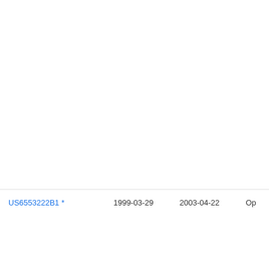| Patent Number | Filing Date | Publication Date | Assignee |
| --- | --- | --- | --- |
| US6553222B1 * | 1999-03-29 | 2003-04-22 | Op… |
| US20030147518A1 * | 1999-06-30 | 2003-08-07 | Na… |
| US6675008B1 * | 1999-07-15 | 2004-01-06 | Lg |